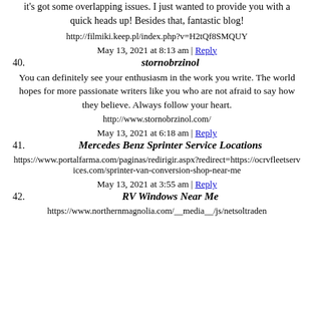it's got some overlapping issues. I just wanted to provide you with a quick heads up! Besides that, fantastic blog!
http://filmiki.keep.pl/index.php?v=H2tQf8SMQUY
May 13, 2021 at 8:13 am | Reply
40. stornobrzinol
You can definitely see your enthusiasm in the work you write. The world hopes for more passionate writers like you who are not afraid to say how they believe. Always follow your heart.
http://www.stornobrzinol.com/
May 13, 2021 at 6:18 am | Reply
41. Mercedes Benz Sprinter Service Locations
https://www.portalfarma.com/paginas/redirigir.aspx?redirect=https://ocrvfleetservices.com/sprinter-van-conversion-shop-near-me
May 13, 2021 at 3:55 am | Reply
42. RV Windows Near Me
https://www.northernmagnolia.com/__media__/js/netsoltrade...